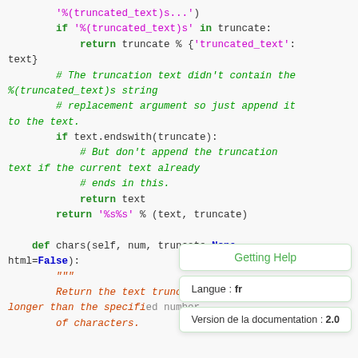[Figure (screenshot): Python source code snippet showing string truncation logic with syntax highlighting, overlaid with tooltip boxes showing 'Getting Help', 'Langue: fr', and 'Version de la documentation: 2.0']